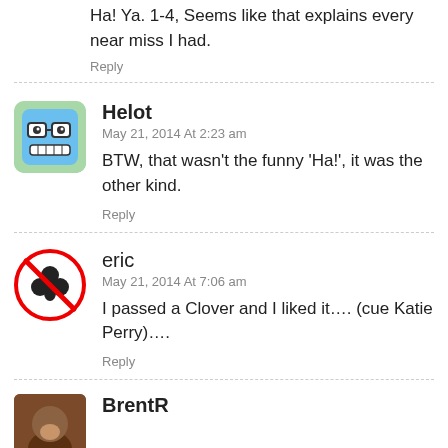Ha! Ya. 1-4, Seems like that explains every near miss I had.
Reply
Helot
May 21, 2014 At 2:23 am
BTW, that wasn't the funny 'Ha!', it was the other kind.
Reply
eric
May 21, 2014 At 7:06 am
I passed a Clover and I liked it…. (cue Katie Perry)….
Reply
BrentR